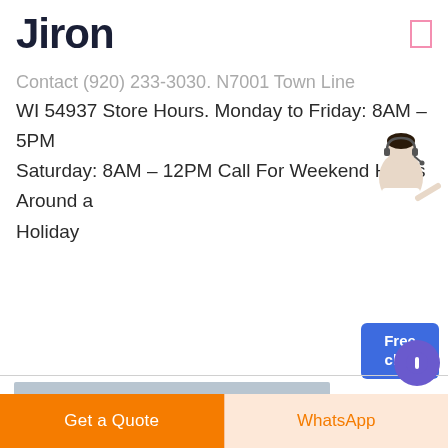Jiron
Contact (920) 233-3030. N7001 Town Line Rd. Fond Du Lac, WI 54937 Store Hours. Monday to Friday: 8AM – 5PM Saturday: 8AM – 12PM Call For Weekend Hours Around a Holiday
[Figure (other): Free chat button with female assistant illustration]
[Figure (other): Get More button with rounded border in dark blue/purple]
[Figure (photo): Aerial view of an industrial mining or quarrying plant with conveyor belts and buildings]
Get a Quote
WhatsApp